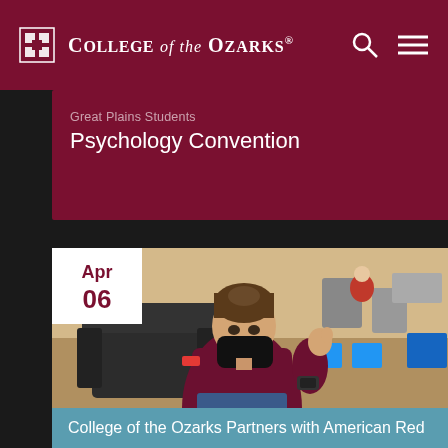College of the Ozarks
Great Plains Students Psychology Convention
[Figure (photo): Student wearing a black mask sitting in a blood donation chair, giving a thumbs up. A bandage is visible on their arm. Blood drive equipment and other chairs are visible in the background.]
Apr 06
College of the Ozarks Partners with American Red